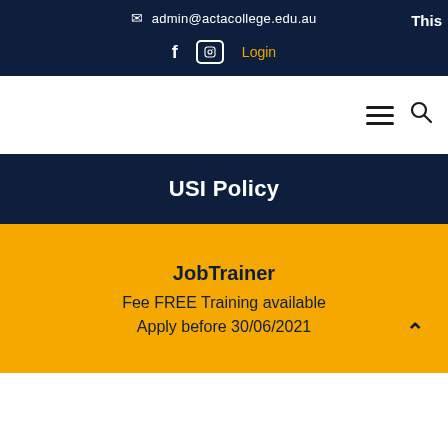admin@actacollege.edu.au  f  [Instagram]  Login  Thi...
[Figure (screenshot): Navigation bar with hamburger menu and search icon]
USI Policy
JobTrainer
Fee FREE Training available
Apply before 30/06/2021